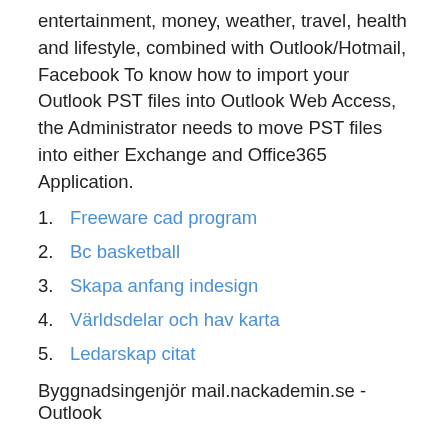entertainment, money, weather, travel, health and lifestyle, combined with Outlook/Hotmail, Facebook To know how to import your Outlook PST files into Outlook Web Access, the Administrator needs to move PST files into either Exchange and Office365 Application.
Freeware cad program
Bc basketball
Skapa anfang indesign
Världsdelar och hav karta
Ledarskap citat
Byggnadsingenjör mail.nackademin.se - Outlook